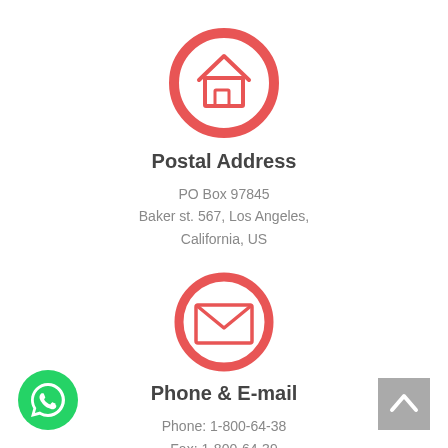[Figure (illustration): Red circle icon with a house/home symbol inside]
Postal Address
PO Box 97845
Baker st. 567, Los Angeles,
California, US
[Figure (illustration): Red circle icon with an envelope/email symbol inside]
Phone & E-mail
Phone: 1-800-64-38
Fax: 1-800-64-39
office@skilled.com
[Figure (logo): Green WhatsApp button icon at bottom left]
[Figure (illustration): Gray back-to-top arrow button at bottom right]